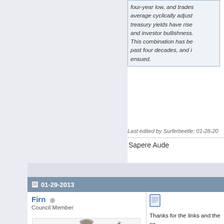four-year low, and trades... average cyclically adjust... treasury yields have rise... and investor bullishness... This combination has be... past four decades, and i... ensued.
Last edited by Surferbeetle; 01-28-20...
Sapere Aude
01-29-2013
Firn
Council Member
[Figure (illustration): Warrior/native figure holding spear and shield]
Thanks for the links and the co...
Sounds like the cannons have f... certainly had a great run and th... state doesn't have to pay so mu...